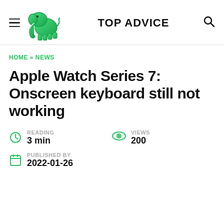TOP ADVICE
HOME » NEWS
Apple Watch Series 7: Onscreen keyboard still not working
READING 3 min
VIEWS 200
PUBLISHED BY 2022-01-26